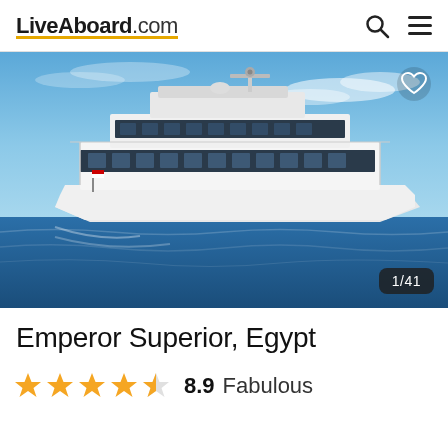LiveAboard.com
[Figure (photo): Large luxury dive liveaboard motor yacht named Emperor Superior photographed at sea in Egypt, white multi-deck vessel with red stripe along hull, blue sky with light cloud cover, sailing on blue ocean water. Photo counter badge showing 1/41 in lower right corner. Heart/favorite icon in upper right corner.]
Emperor Superior, Egypt
★★★★½  8.9 Fabulous